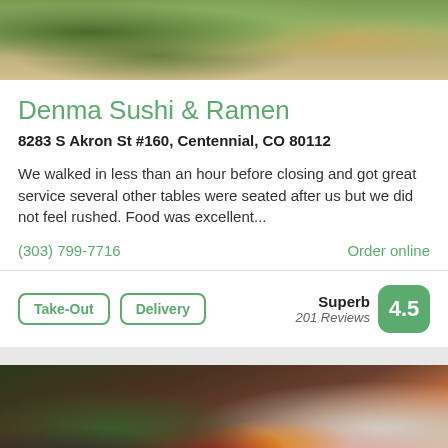[Figure (photo): Food photo showing sushi rolls with green toppings from above]
Denma Sushi & Ramen
8283 S Akron St #160, Centennial, CO 80112
We walked in less than an hour before closing and got great service several other tables were seated after us but we did not feel rushed. Food was excellent...
(303) 799-7716
Order online
Take-Out
Delivery
Superb 201 Reviews 4.5
[Figure (photo): Japanese food bowl with raw fish, seaweed, roe, and various toppings. Tag reads JAPANESE • $$]